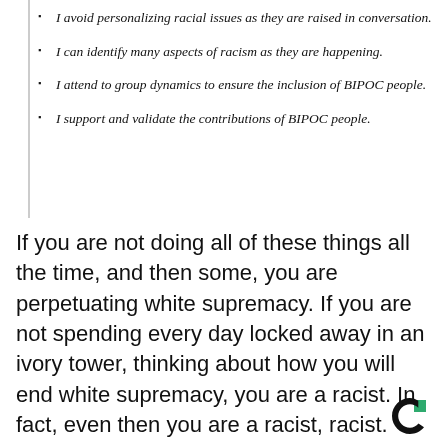I avoid personalizing racial issues as they are raised in conversation.
I can identify many aspects of racism as they are happening.
I attend to group dynamics to ensure the inclusion of BIPOC people.
I support and validate the contributions of BIPOC people.
If you are not doing all of these things all the time, and then some, you are perpetuating white supremacy. If you are not spending every day locked away in an ivory tower, thinking about how you will end white supremacy, you are a racist. In fact, even then you are a racist, racist.
[Figure (logo): Courier logo — a circular C shape in black with a small green square, bottom right corner]